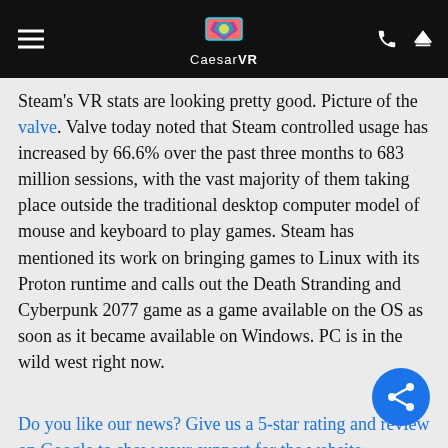CaesarVR
Steam's VR stats are looking pretty good. Picture of the valve. Valve today noted that Steam controlled usage has increased by 66.6% over the past three months to 683 million sessions, with the vast majority of them taking place outside the traditional desktop computer model of mouse and keyboard to play games. Steam has mentioned its work on bringing games to Linux with its Proton runtime and calls out the Death Stranding and Cyberpunk 2077 game as a game available on the OS as soon as it became available on Windows. PC is in the wild west right now.
Do you like our news? Give us a 5-star rating and review on Google to show your support for the website.